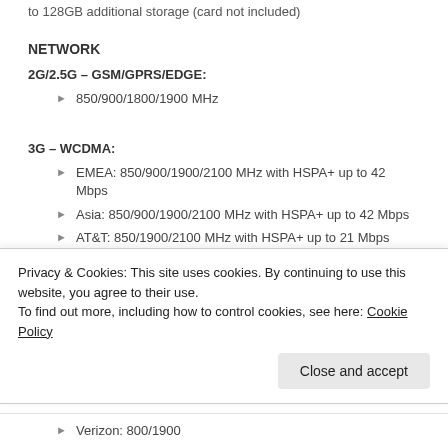to 128GB additional storage (card not included)
NETWORK
2G/2.5G – GSM/GPRS/EDGE:
850/900/1800/1900 MHz
3G – WCDMA:
EMEA: 850/900/1900/2100 MHz with HSPA+ up to 42 Mbps
Asia: 850/900/1900/2100 MHz with HSPA+ up to 42 Mbps
AT&T: 850/1900/2100 MHz with HSPA+ up to 21 Mbps
Sprint: 850/1900/2100 MHz with HSPA up to 14.4 Mbps
Privacy & Cookies: This site uses cookies. By continuing to use this website, you agree to their use.
To find out more, including how to control cookies, see here: Cookie Policy
Verizon: 800/1900